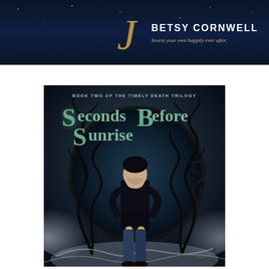[Figure (illustration): Top banner with publisher logo: decorative italic 'J' in gold, author name 'BETSY CORNWELL' in white bold capitals, tagline 'Invent your own happily ever after.' on a dark navy/starry background.]
[Figure (illustration): Book cover for 'Seconds Before Sunrise' - Book Two of the Timely Death Trilogy. Dark fantasy cover featuring a young man in black standing in front of a large circular dark gate/portal with swirling black branches. Background has misty grey swirls and fog effects. Title text in teal/green metallic lettering.]